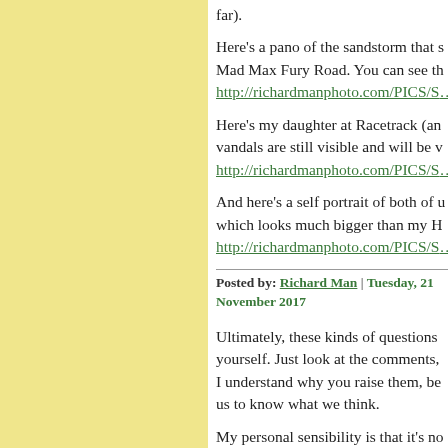far).
Here's a pano of the sandstorm that s… Mad Max Fury Road. You can see th…
http://richardmanphoto.com/PICS/S…
Here's my daughter at Racetrack (an… vandals are still visible and will be v…
http://richardmanphoto.com/PICS/S…
And here's a self portrait of both of u… which looks much bigger than my H…
http://richardmanphoto.com/PICS/S…
Posted by: Richard Man | Tuesday, 21 November 2017
Ultimately, these kinds of questions yourself. Just look at the comments, I understand why you raise them, be us to know what we think.
My personal sensibility is that it's no…